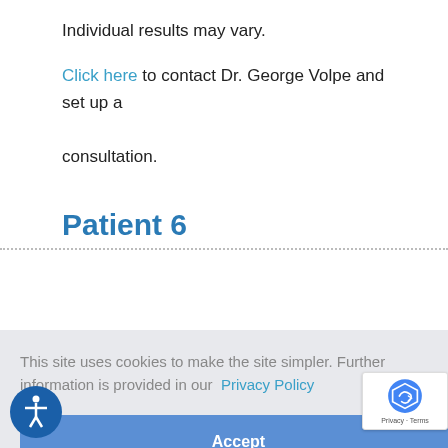Individual results may vary.
Click here to contact Dr. George Volpe and set up a consultation.
Patient 6
This site uses cookies to make the site simpler. Further information is provided in our  Privacy Policy
Accept
[Figure (other): Accessibility icon button (person figure in circle)]
[Figure (other): reCAPTCHA badge with Privacy and Terms links]